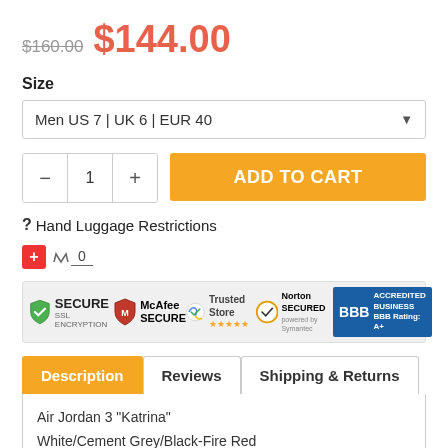$160.00  $144.00
Size
Men US 7 | UK 6 | EUR 40
1  ADD TO CART
? Hand Luggage Restrictions
[Figure (infographic): Trust badges banner: Secure SSL Encryption, McAfee SECURE, Google Trusted Store, Norton SECURED, BBB Accredited Business A+]
Description  Reviews  Shipping & Returns
Air Jordan 3 "Katrina"
White/Cement Grey/Black-Fire Red
136064-116
November 2017
In stock and ready to ship.